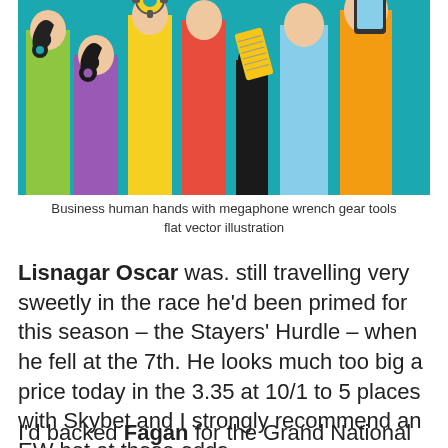[Figure (illustration): Business human hands with megaphone wrench gear tools flat vector illustration — colorful raised arms (green, purple, yellow, red, black, light blue, orange) holding various tools and devices against a teal background]
Business human hands with megaphone wrench gear tools flat vector illustration
Lisnagar Oscar was. still travelling very sweetly in the race he'd been primed for this season – the Stayers' Hurdle – when he fell at the 7th. He looks much too big a price today in the 3.35 at 10/1 to 5 places with Skybet and I strongly recommend an EW bet at those odds.
I'd backed Fagan for the Grand National at 370